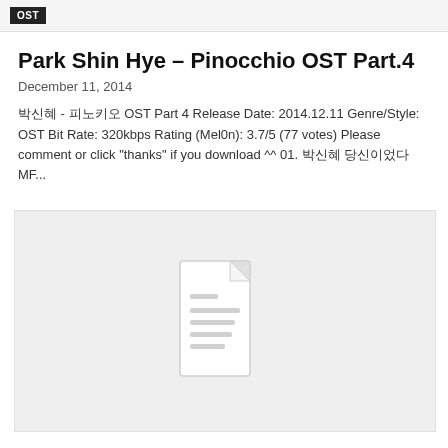OST
Park Shin Hye – Pinocchio OST Part.4
December 11, 2014
박신혜 - 피노키오 OST Part 4 Release Date: 2014.12.11 Genre/Style: OST Bit Rate: 320kbps Rating (Mel0n): 3.7/5 (77 votes) Please comment or click "thanks" if you download ^^ 01. 박신혜 당신이었다 MF...
[Figure (other): Document icon placeholder image on grey background]